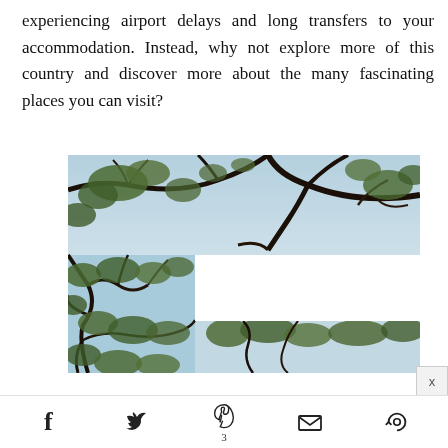experiencing airport delays and long transfers to your accommodation. Instead, why not explore more of this country and discover more about the many fascinating places you can visit?
[Figure (photo): Upward view through tree canopy with bare and leafy branches against a light blue sky. The image is shown in an L-shape or partial frame arrangement with two photo panels: a wide horizontal strip at the top and a vertical strip on the left side, with a third partial strip at the bottom right.]
3